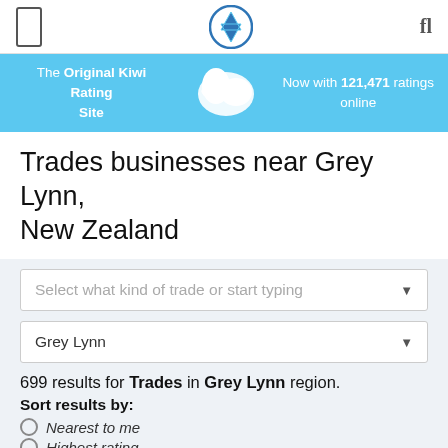Navigation bar with menu icon, Kiwi logo, and search icon
The Original Kiwi Rating Site — Now with 121,471 ratings online
Trades businesses near Grey Lynn, New Zealand
Select what kind of trade or start typing
Grey Lynn
699 results for Trades in Grey Lynn region.
Sort results by:
Nearest to me
Highest rating